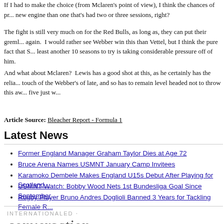If I had to make the choice (from Mclaren's point of view), I think the chances of pro... new engine than one that's had two or three sessions, right?
The fight is still very much on for the Red Bulls, as long as, they can put their greml... again.  I would rather see Webber win this than Vettel, but I think the pure fact that S... least another 10 seasons to try is taking considerable pressure off of him.
And what about Mclaren?  Lewis has a good shot at this, as he certainly has the relia... touch of the Webber's of late, and so has to remain level headed not to throw this aw... five just w...
Article Source: Bleacher Report - Formula 1
Latest News
Former England Manager Graham Taylor Dies at Age 72
Bruce Arena Names USMNT January Camp Invitees
Karamoko Dembele Makes England U15s Debut After Playing for Scotland...
USMNT Watch: Bobby Wood Nets 1st Bundesliga Goal Since September
Rugby Player Bruno Andres Doglioli Banned 3 Years for Tackling Female R...
[Figure (logo): Internationaled conversation logo - text reads INTERNATIONALED in small caps above 'conversation' in large italic serif font]
5 Comments on "Rugby Player Bruno Andres Doglioli Banned 3 Years for Tackling Fe...